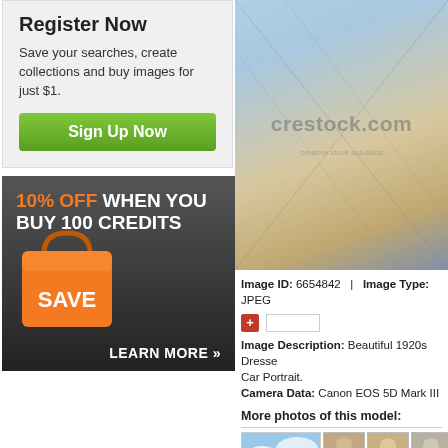Register Now
Save your searches, create collections and buy images for just $1.
Sign Up Now
[Figure (infographic): Dark banner ad: '10% OFF WHEN YOU BUY 100 CREDITS' with an orange shopping bag graphic that says SAVE and text 'LEARN MORE »']
[Figure (photo): Stock photo of a woman in 1920s dress with pearl necklace, with crestock.com watermark overlay]
Image ID: 6654842   |   Image Type: JPEG
Image Description: Beautiful 1920s Dressed Car Portrait.
Camera Data: Canon EOS 5D Mark III
More photos of this model:
[Figure (photo): Thumbnail of woman in hat against blue sky]
[Figure (photo): Small thumbnails of various model photos]